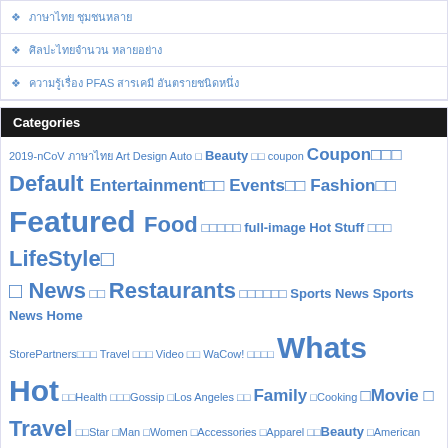❖ ภาษาไทย ชุมชนหลาย
❖ ศิลปะไทยจำนวน หลายอย่าง
❖ ความรู้เรื่อง PFAS สารเคมี อันตรายชนิดหนึ่ง
Categories
2019-nCoV ภาษาไทย Art Design Auto □ Beauty □□ coupon Coupon□□□ Default Entertainment□□ Events□□ Fashion□□ Featured Food □□□□□ full-image Hot Stuff □□□ LifeStyle□ □ News □□ Restaurants □□□□□□ Sports News Sports News Home StorePartners□□□ Travel □□□ Video □□ WaCow! □□□□ Whats Hot □□Health □□□Gossip □Los Angeles □□ Family □Cooking □Movie □ Travel □□Star □Man □Women □Accessories □Apparel □□Beauty □American □Art □□Kids □Information □Article □Funny □Gadget □Footwear
[Figure (photo): Family standing next to a large dark SUV with mountain background]